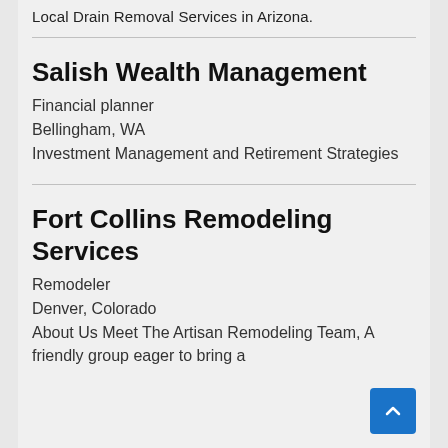Local Drain Removal Services in Arizona.
Salish Wealth Management
Financial planner
Bellingham, WA
Investment Management and Retirement Strategies
Fort Collins Remodeling Services
Remodeler
Denver, Colorado
About Us Meet The Artisan Remodeling Team, A friendly group eager to bring a